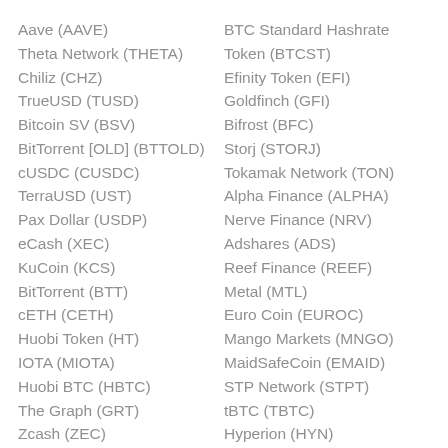Aave (AAVE)
Theta Network (THETA)
Chiliz (CHZ)
TrueUSD (TUSD)
Bitcoin SV (BSV)
BitTorrent [OLD] (BTTOLD)
cUSDC (CUSDC)
TerraUSD (UST)
Pax Dollar (USDP)
eCash (XEC)
KuCoin (KCS)
BitTorrent (BTT)
cETH (CETH)
Huobi Token (HT)
IOTA (MIOTA)
Huobi BTC (HBTC)
The Graph (GRT)
Zcash (ZEC)
Evmos (EVMOS)
BTC Standard Hashrate Token (BTCST)
Efinity Token (EFI)
Goldfinch (GFI)
Bifrost (BFC)
Storj (STORJ)
Tokamak Network (TON)
Alpha Finance (ALPHA)
Nerve Finance (NRV)
Adshares (ADS)
Reef Finance (REEF)
Metal (MTL)
Euro Coin (EUROC)
Mango Markets (MNGO)
MaidSafeCoin (EMAID)
STP Network (STPT)
tBTC (TBTC)
Hyperion (HYN)
Small Love Potion (SLP)